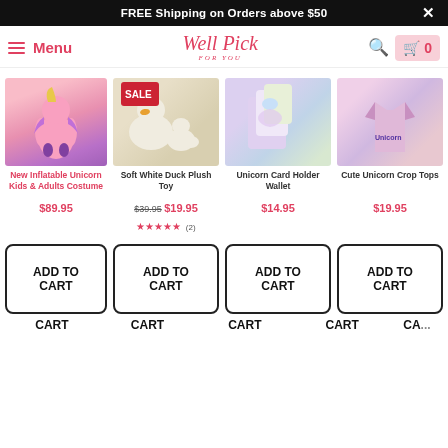FREE Shipping on Orders above $50
[Figure (screenshot): Well Pick For You e-commerce website navigation bar with hamburger menu, logo, search icon, and cart icon showing 0 items]
[Figure (photo): New Inflatable Unicorn Kids & Adults Costume product image]
New Inflatable Unicorn Kids & Adults Costume
$89.95
[Figure (photo): Soft White Duck Plush Toy product image with SALE badge]
Soft White Duck Plush Toy
$39.95  $19.95
★★★★★ (2)
[Figure (photo): Unicorn Card Holder Wallet product image]
Unicorn Card Holder Wallet
$14.95
[Figure (photo): Cute Unicorn Crop Tops product image]
Cute Unicorn Crop Tops
$19.95
[Figure (photo): Unicorn Jacket product image (partially visible)]
Unicorn Ja...
$24...
ADD TO CART
ADD TO CART
ADD TO CART
ADD TO CART